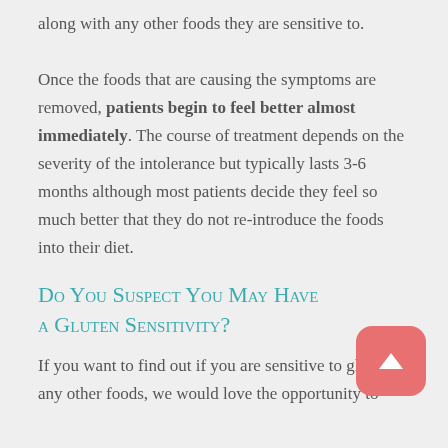along with any other foods they are sensitive to. Once the foods that are causing the symptoms are removed, patients begin to feel better almost immediately. The course of treatment depends on the severity of the intolerance but typically lasts 3-6 months although most patients decide they feel so much better that they do not re-introduce the foods into their diet.
Do You Suspect You May Have a Gluten Sensitivity?
If you want to find out if you are sensitive to gluten or any other foods, we would love the opportunity to